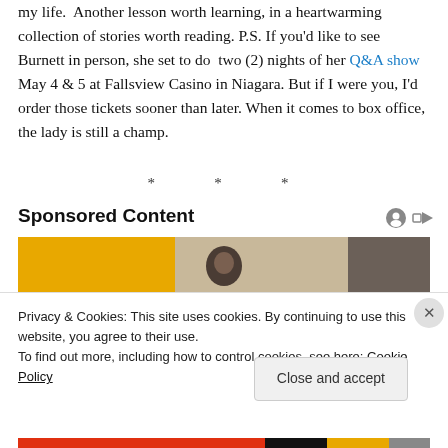my life.  Another lesson worth learning, in a heartwarming collection of stories worth reading. P.S. If you'd like to see Burnett in person, she set to do  two (2) nights of her Q&A show May 4 & 5 at Fallsview Casino in Niagara. But if I were you, I'd order those tickets sooner than later. When it comes to box office, the lady is still a champ.
* * *
Sponsored Content
[Figure (photo): Sponsored content image with yellow, beige and dark gray sections, showing top of a person's head]
Privacy & Cookies: This site uses cookies. By continuing to use this website, you agree to their use.
To find out more, including how to control cookies, see here: Cookie Policy
Close and accept